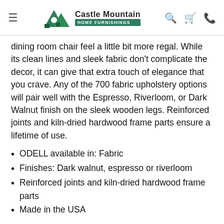Castle Mountain HOME FURNISHINGS
dining room chair feel a little bit more regal. While its clean lines and sleek fabric don't complicate the decor, it can give that extra touch of elegance that you crave. Any of the 700 fabric upholstery options will pair well with the Espresso, Riverloom, or Dark Walnut finish on the sleek wooden legs. Reinforced joints and kiln-dried hardwood frame parts ensure a lifetime of use.
ODELL available in: Fabric
Finishes: Dark walnut, espresso or riverloom
Reinforced joints and kiln-dried hardwood frame parts
Made in the USA
In 1962, two men turned their chair expertise into a yet unknown empire. In a small rented building the two